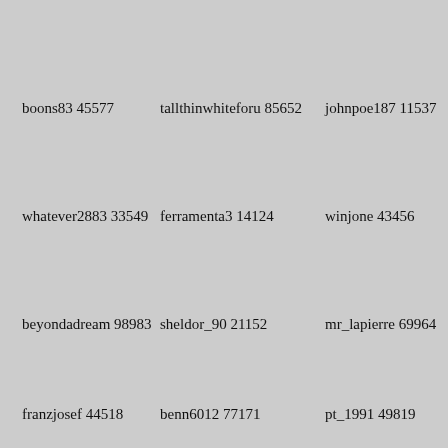boons83 45577
tallthinwhiteforu 85652
johnpoe187 11537
whatever2883 33549
ferramenta3 14124
winjone 43456
beyondadream 98983
sheldor_90 21152
mr_lapierre 69964
franzjosef 44518
benn6012 77171
pt_1991 49819